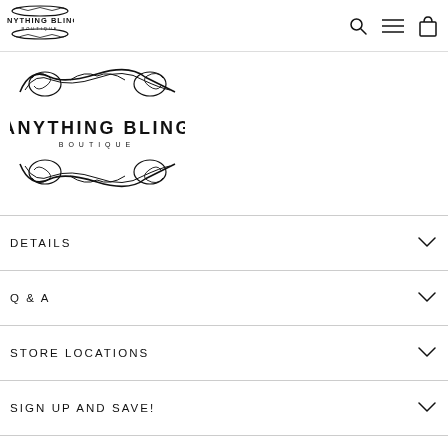Anything Bling Boutique — navigation header with logo, search, menu, and cart icons
[Figure (logo): Anything Bling Boutique ornate script logo with decorative scrollwork, large version]
DETAILS
Q & A
STORE LOCATIONS
SIGN UP AND SAVE!
© 2022 Anything Bling Boutique